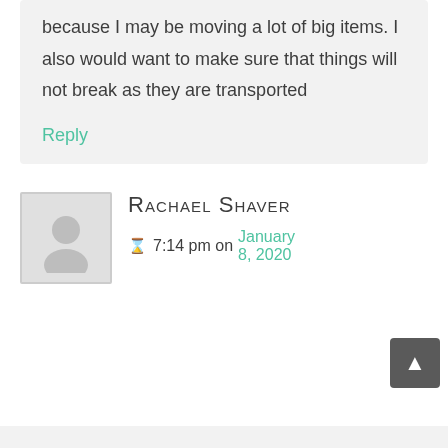because I may be moving a lot of big items. I also would want to make sure that things will not break as they are transported
Reply
Rachael Shaver
7:14 pm on January 8, 2020